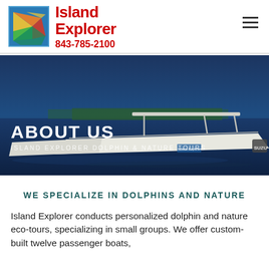[Figure (logo): Island Explorer logo with colorful fish/bird graphic on blue background square, with company name 'Island Explorer' and phone number '843-785-2100' in red text]
[Figure (photo): Hero banner photo of Island Explorer boats on water with blue sky background, showing white passenger boats with canopy structures, with text overlay 'ABOUT US' and 'ISLAND EXPLORER DOLPHIN & NATURE TOURS']
WE SPECIALIZE IN DOLPHINS AND NATURE
Island Explorer conducts personalized dolphin and nature eco-tours, specializing in small groups. We offer custom-built twelve passenger boats,